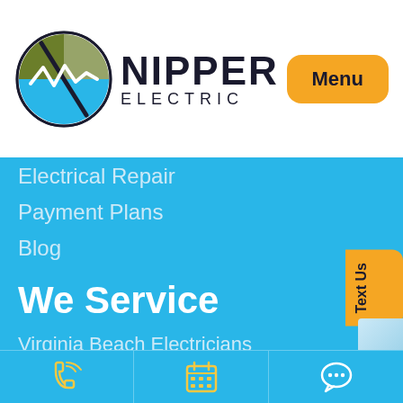[Figure (logo): Nipper Electric circular logo with lightning bolt and wave design in blue, green, and black, with company name 'NIPPER ELECTRIC' to the right]
Electrical Repair
Payment Plans
Blog
We Service
Virginia Beach Electricians
Norfolk Electricians
[Figure (screenshot): Bottom navigation toolbar with phone/call icon, calendar/schedule icon, and chat bubble icon on blue background]